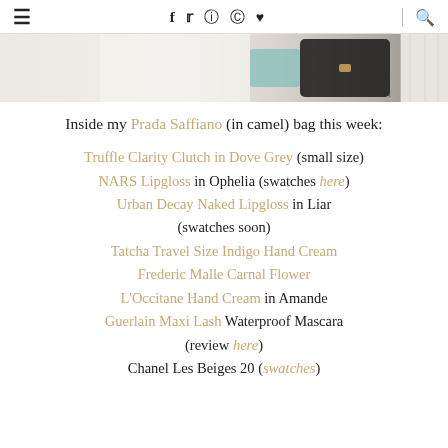≡  f  𝕿  ☉  ⊕  ♥  🔍
[Figure (photo): Partial view of a flat lay with a white shirt, accessories, and a black Chanel quilted bag with gold hardware against a light background]
Inside my Prada Saffiano (in camel) bag this week:
Truffle Clarity Clutch in Dove Grey (small size)
NARS Lipgloss in Ophelia (swatches here)
Urban Decay Naked Lipgloss in Liar (swatches soon)
Tatcha Travel Size Indigo Hand Cream
Frederic Malle Carnal Flower
L'Occitane Hand Cream in Amande
Guerlain Maxi Lash Waterproof Mascara (review here)
Chanel Les Beiges 20 (swatches)